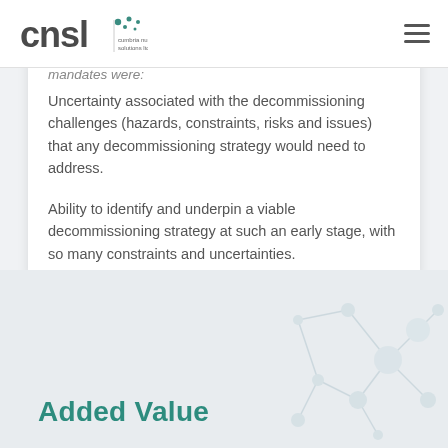CNSL Cumbria Nuclear Solutions Ltd
mandates were:
Uncertainty associated with the decommissioning challenges (hazards, constraints, risks and issues) that any decommissioning strategy would need to address.
Ability to identify and underpin a viable decommissioning strategy at such an early stage, with so many constraints and uncertainties.
Added Value